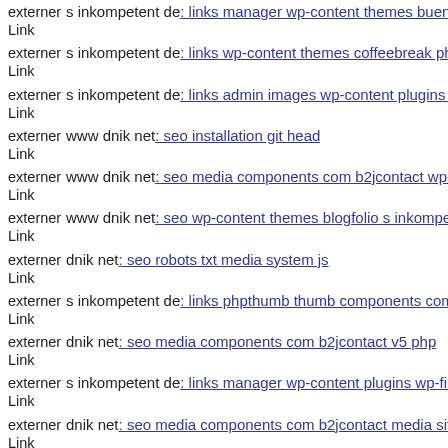externer Link s inkompetent de: links manager wp-content themes bueno
externer Link s inkompetent de: links wp-content themes coffeebreak php
externer Link s inkompetent de: links admin images wp-content plugins w
externer Link www dnik net: seo installation git head
externer Link www dnik net: seo media components com b2jcontact wp-i
externer Link www dnik net: seo wp-content themes blogfolio s inkompe
externer Link dnik net: seo robots txt media system js
externer Link s inkompetent de: links phpthumb thumb components com
externer Link dnik net: seo media components com b2jcontact v5 php
externer Link s inkompetent de: links manager wp-content plugins wp-file
externer Link dnik net: seo media components com b2jcontact media sites